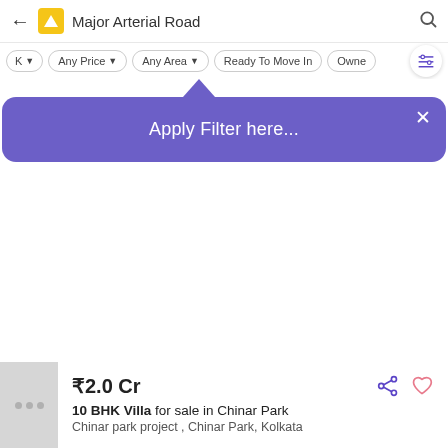Major Arterial Road
Any Price
Any Area
Ready To Move In
Owner
Apply Filter here...
₹2.0 Cr
10 BHK Villa for sale in Chinar Park
Chinar park project , Chinar Park, Kolkata